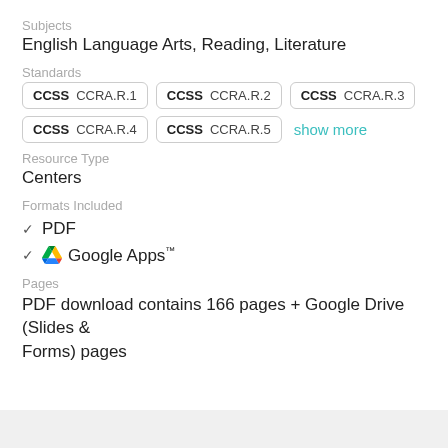Subjects
English Language Arts, Reading, Literature
Standards
CCSS CCRA.R.1 | CCSS CCRA.R.2 | CCSS CCRA.R.3 | CCSS CCRA.R.4 | CCSS CCRA.R.5 | show more
Resource Type
Centers
Formats Included
PDF
Google Apps™
Pages
PDF download contains 166 pages + Google Drive (Slides & Forms) pages